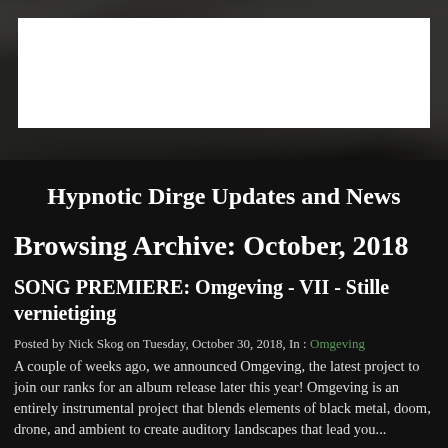[Figure (photo): Dark forest/nature background photo in black and white/sepia tones, with a white rectangular box overlaid at the top center]
Hypnotic Dirge Updates and News
Browsing Archive: October, 2018
SONG PREMIERE: Omgeving - VII - Stille vernietiging
Posted by Nick Skog on Tuesday, October 30, 2018, In : Omgeving
A couple of weeks ago, we announced Omgeving, the latest project to join our ranks for an album release later this year! Omgeving is an entirely instrumental project that blends elements of black metal, doom, drone, and ambient to create auditory landscapes that lead you...